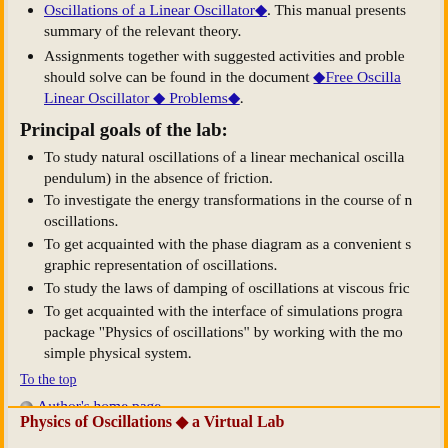Oscillations of a Linear Oscillator. This manual presents summary of the relevant theory.
Assignments together with suggested activities and problems should solve can be found in the document Free Oscillations of a Linear Oscillator Problems.
Principal goals of the lab:
To study natural oscillations of a linear mechanical oscillator (pendulum) in the absence of friction.
To investigate the energy transformations in the course of oscillations.
To get acquainted with the phase diagram as a convenient graphic representation of oscillations.
To study the laws of damping of oscillations at viscous friction.
To get acquainted with the interface of simulations program package "Physics of oscillations" by working with the most simple physical system.
To the top
Author's home page
Physics of Oscillations Contents
Physics of Oscillations a Virtual Lab